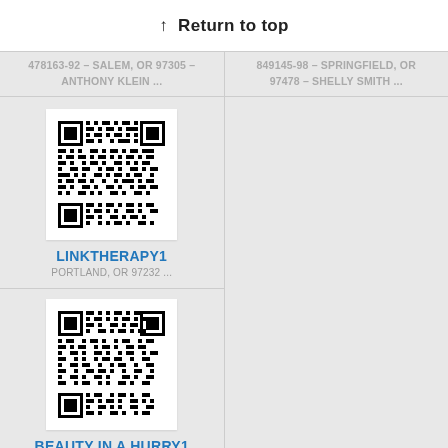↑ Return to top
478163-92 – SALEM, OR 97305 – ANTHONY KLEIN ...
849145-98 – SPRINGFIELD, OR 97478 – SHELLY SMITH ...
[Figure (other): QR code for LINKTHERAPY1]
LINKTHERAPY1
PORTLAND, OR 97232 ...
[Figure (other): QR code for BEAUTY IN A HURRY1]
BEAUTY IN A HURRY1